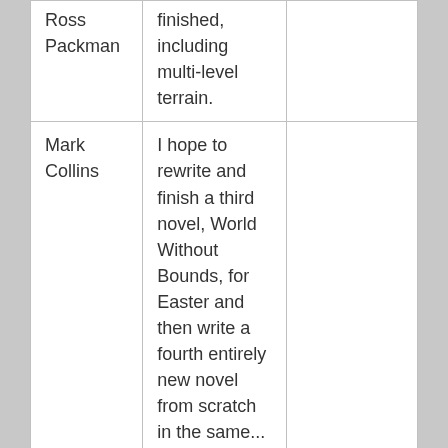| Ross Packman | finished, including multi-level terrain. |  |
| Mark Collins | I hope to rewrite and finish a third novel, World Without Bounds, for Easter and then write a fourth entirely new novel from scratch in the same... |  |